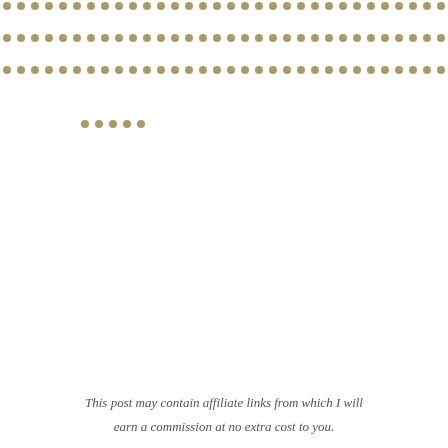[Figure (other): Three rows of golden/olive dots arranged horizontally across the page, with a partial fourth row, forming a decorative dot pattern.]
This post may contain affiliate links from which I will earn a commission at no extra cost to you.